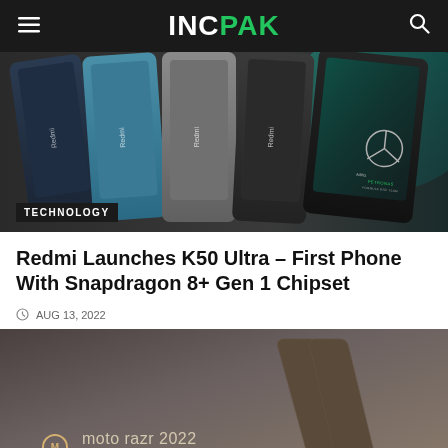INCPAK
[Figure (photo): Multiple Redmi smartphones shown from the back in various colors (dark blue, teal, grey, dark grey, black with Mercedes-AMG Petronas Formula One Team branding), arranged side by side. TECHNOLOGY label overlay at bottom left.]
Redmi Launches K50 Ultra – First Phone With Snapdragon 8+ Gen 1 Chipset
AUG 13, 2022
[Figure (photo): Moto Razr 2022 promotional image showing a folding flip phone open against a dark grey/brown gradient background, with the Motorola logo and 'moto razr 2022' text in the lower left.]